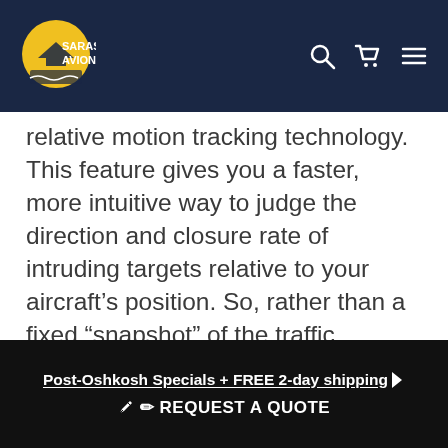Sarasota Avionics
relative motion tracking technology. This feature gives you a faster, more intuitive way to judge the direction and closure rate of intruding targets relative to your aircraft's position. So, rather than a fixed “snapshot” of the traffic situation, TargetTrend provides a more dynamic “velocity-based” display that shows which aircraft trajectories are most likely to converge with your own. For example, if traffic is ahead of you and traveling along the same track but at a slower rate, the motion vector would point opposite of its indicated direction of flight to show you are overtaking the traffic. The result — you’re able to make faster, better target avoidance decisions.
Post-Oshkosh Specials + FREE 2-day shipping ▸
REQUEST A QUOTE